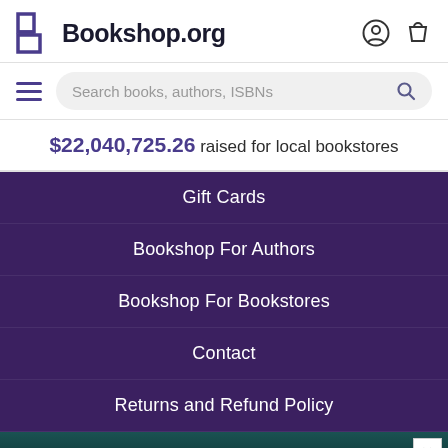Bookshop.org
$22,040,725.26 raised for local bookstores
Gift Cards
Bookshop For Authors
Bookshop For Bookstores
Contact
Returns and Refund Policy
[Figure (screenshot): Advertisement banner with dark teal background showing a coastal house image. Text reads: "Alice Feeney is great with TWISTS AND TURNS." — HARLAN COBEN]